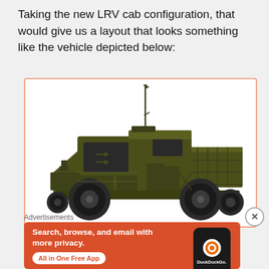Taking the new LRV cab configuration, that would give us a layout that looks something like the vehicle depicted below:
[Figure (illustration): Side-view illustration of a military light reconnaissance vehicle (LRV) with extended cab configuration, olive drab green color, showing armored body, large wheels, roof-mounted equipment, rear cargo rack, and tall antenna mast.]
Advertisements
[Figure (other): DuckDuckGo advertisement banner with orange background. Text reads: 'Search, browse, and email with more privacy. All in One Free App' with DuckDuckGo logo on a smartphone graphic.]